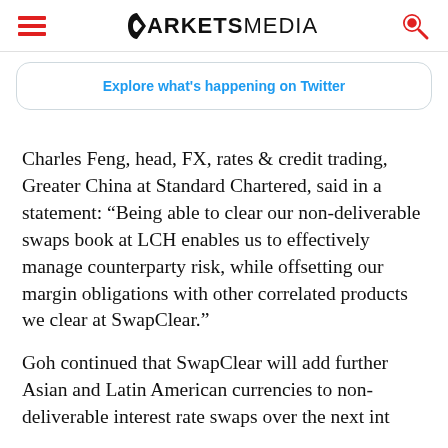MARKETSMEDIA
[Figure (screenshot): Twitter embedded widget with link: Explore what's happening on Twitter]
Charles Feng, head, FX, rates & credit trading, Greater China at Standard Chartered, said in a statement: “Being able to clear our non-deliverable swaps book at LCH enables us to effectively manage counterparty risk, while offsetting our margin obligations with other correlated products we clear at SwapClear.”
Goh continued that SwapClear will add further Asian and Latin American currencies to non-deliverable interest rate swaps over the next interim over the cabinet to